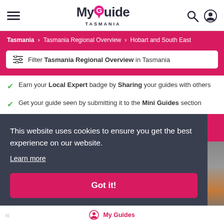[Figure (logo): My Guide Tasmania logo with pink map pin replacing letter G]
[Figure (other): Hamburger menu icon, search icon, and user account icon in header]
Tasmania > Tasmania Regional Overview > Hobart and South East
Filter Tasmania Regional Overview in Tasmania
Earn your Local Expert badge by Sharing your guides with others
Get your guide seen by submitting it to the Mini Guides section
This website uses cookies to ensure you get the best experience on our website.
Learn more
Got it!
My Guides